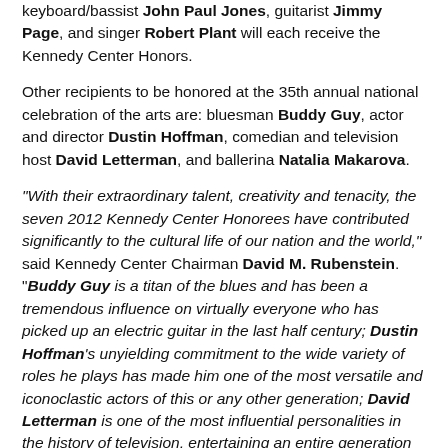keyboard/bassist John Paul Jones, guitarist Jimmy Page, and singer Robert Plant will each receive the Kennedy Center Honors.
Other recipients to be honored at the 35th annual national celebration of the arts are: bluesman Buddy Guy, actor and director Dustin Hoffman, comedian and television host David Letterman, and ballerina Natalia Makarova.
"With their extraordinary talent, creativity and tenacity, the seven 2012 Kennedy Center Honorees have contributed significantly to the cultural life of our nation and the world," said Kennedy Center Chairman David M. Rubenstein. "Buddy Guy is a titan of the blues and has been a tremendous influence on virtually everyone who has picked up an electric guitar in the last half century; Dustin Hoffman's unyielding commitment to the wide variety of roles he plays has made him one of the most versatile and iconoclastic actors of this or any other generation; David Letterman is one of the most influential personalities in the history of television, entertaining an entire generation of late-night viewers with his unconventional wit and charm; Natalia Makarova has...